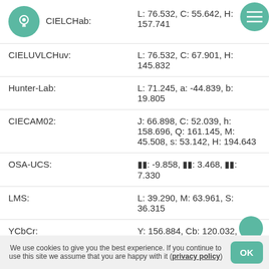| Color Space | Values |
| --- | --- |
| CIELCHab: | L: 76.532, C: 55.642, H: 157.741 |
| CIELUVLCHuv: | L: 76.532, C: 67.901, H: 145.832 |
| Hunter-Lab: | L: 71.245, a: -44.839, b: 19.805 |
| CIECAM02: | J: 66.898, C: 52.039, h: 158.696, Q: 161.145, M: 45.508, s: 53.142, H: 194.643 |
| OSA-UCS: | ʟ: -9.858, ʟ: 3.468, ʟ: 7.330 |
| LMS: | L: 39.290, M: 63.961, S: 36.315 |
| YCbCr: | Y: 156.884, Cb: 120.032, Cr: 72.840 |
| YCoCg: | Y: 162.000, Cg: 50.000, Co: 1.000 |
| YDbDr: | Y: 164.040, Db: -24.112, Dr: 167.400 |
| YPbPr: | Y: 178.424, Pb: -16.360, Pr: -65.056 |
We use cookies to give you the best experience. If you continue to use this site we assume that you are happy with it (privacy policy)